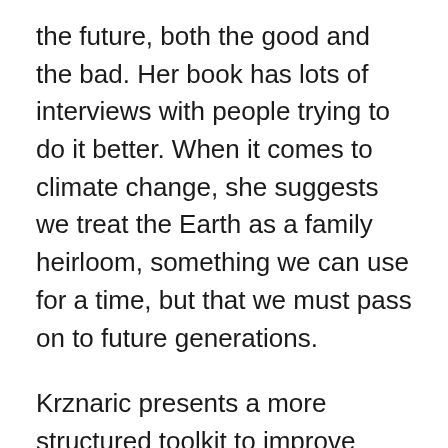the future, both the good and the bad. Her book has lots of interviews with people trying to do it better. When it comes to climate change, she suggests we treat the Earth as a family heirloom, something we can use for a time, but that we must pass on to future generations.
Krznaric presents a more structured toolkit to improve long-term thinking, like developing a sense of intergenerational justice, and cathedral thinking – the idea of multi-generational projects like the Sagrada Familia cathedral in Barcelona.
If you read only one book about